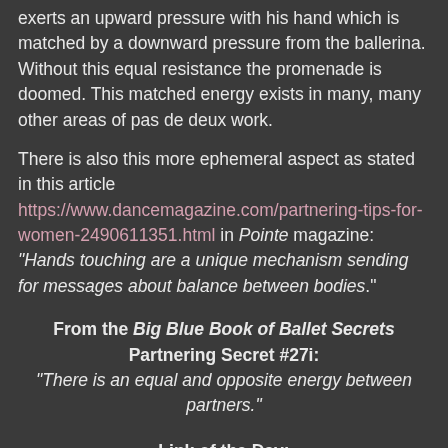exerts an upward pressure with his hand which is matched by a downward pressure from the ballerina. Without this equal resistance the promenade is doomed. This matched energy exists in many, many other areas of pas de deux work.
There is also this more ephemeral aspect as stated in this article https://www.dancemagazine.com/partnering-tips-for-women-2490611351.html in Pointe magazine: “Hands touching are a unique mechanism sending for messages about balance between bodies.”
From the Big Blue Book of Ballet Secrets Partnering Secret #27i: “There is an equal and opposite energy between partners.”
Link of the Day: https://www.youtube.com/watch?v=LiO3d0LyJak